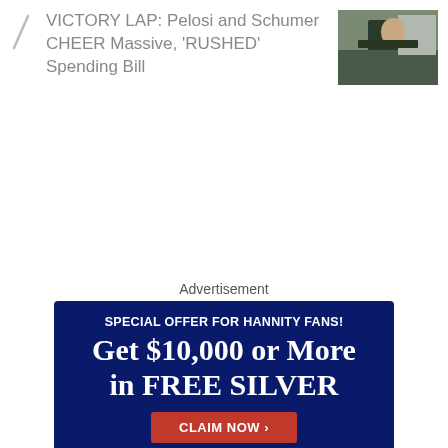VICTORY LAP: Pelosi and Schumer CHEER Massive, 'RUSHED' Spending Bill
[Figure (photo): Thumbnail photo of a person at a press conference holding papers]
Advertisement
[Figure (infographic): Advertisement banner with dark blue background. Text: SPECIAL OFFER FOR HANNITY FANS! Get $10,000 or More in FREE SILVER. CLAIM NOW button. Silver coins image at bottom.]